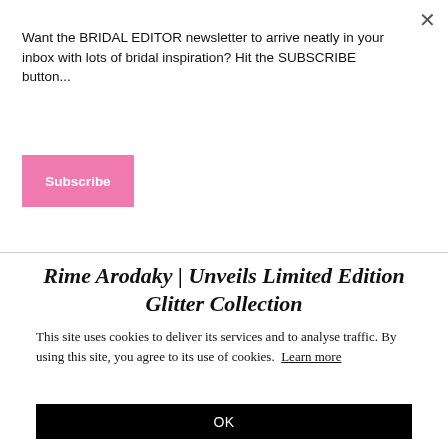Want the BRIDAL EDITOR newsletter to arrive neatly in your inbox with lots of bridal inspiration? Hit the SUBSCRIBE button...
Subscribe
Rime Arodaky | Unveils Limited Edition Glitter Collection
This site uses cookies to deliver its services and to analyse traffic. By using this site, you agree to its use of cookies. Learn more
OK